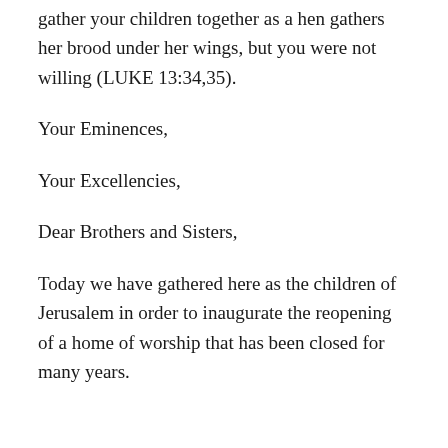gather your children together as a hen gathers her brood under her wings, but you were not willing (LUKE 13:34,35).
Your Eminences,
Your Excellencies,
Dear Brothers and Sisters,
Today we have gathered here as the children of Jerusalem in order to inaugurate the reopening of a home of worship that has been closed for many years.